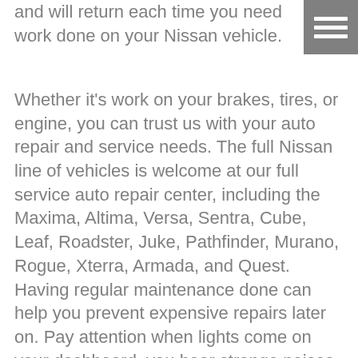and will return each time you need work done on your Nissan vehicle.
[Figure (other): Hamburger menu icon with three horizontal white lines on a gray square background]
Whether it’s work on your brakes, tires, or engine, you can trust us with your auto repair and service needs. The full Nissan line of vehicles is welcome at our full service auto repair center, including the Maxima, Altima, Versa, Sentra, Cube, Leaf, Roadster, Juke, Pathfinder, Murano, Rogue, Xterra, Armada, and Quest. Having regular maintenance done can help you prevent expensive repairs later on. Pay attention when lights come on your dashboard, you hear strange noises or notice abnormal smells. Bring your vehicle in to us as soon as these things occur so that we can fix the issue and get you back on the road as quickly as possible.